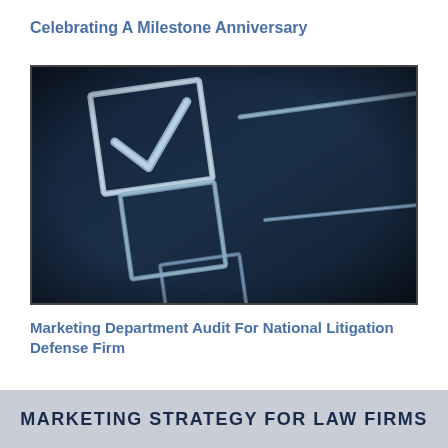Celebrating A Milestone Anniversary
[Figure (photo): Close-up photo of a dark blue/black chalkboard or surface with drawn chalk checkbox squares; the top checkbox has a checkmark inside it, and two more empty checkboxes appear below, with chalk lines extending to the right.]
Marketing Department Audit For National Litigation Defense Firm
MARKETING STRATEGY FOR LAW FIRMS